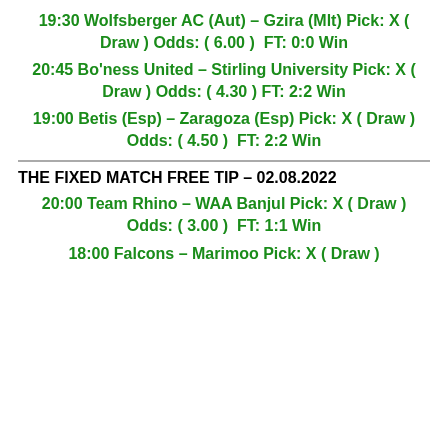19:30 Wolfsberger AC (Aut) – Gzira (Mlt) Pick: X ( Draw ) Odds: ( 6.00 )  FT: 0:0 Win
20:45 Bo'ness United – Stirling University Pick: X ( Draw ) Odds: ( 4.30 )  FT: 2:2 Win
19:00 Betis (Esp) – Zaragoza (Esp) Pick: X ( Draw ) Odds: ( 4.50 )  FT: 2:2 Win
THE FIXED MATCH FREE TIP – 02.08.2022
20:00 Team Rhino – WAA Banjul Pick: X ( Draw ) Odds: ( 3.00 )  FT: 1:1 Win
18:00 Falcons – Marimoo Pick: X ( Draw )